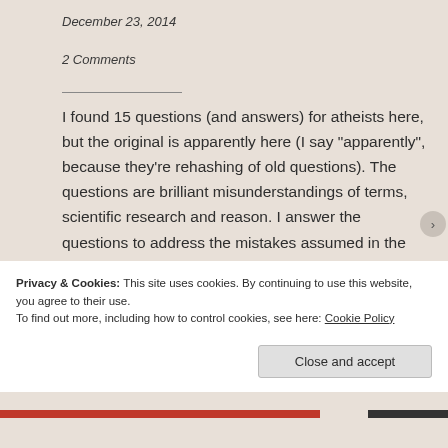December 23, 2014
2 Comments
I found 15 questions (and answers) for atheists here, but the original is apparently here (I say "apparently", because they're rehashing of old questions). The questions are brilliant misunderstandings of terms, scientific research and reason. I answer the questions to address the mistakes assumed in the question, because we basically already know the answers. Are
Privacy & Cookies: This site uses cookies. By continuing to use this website, you agree to their use.
To find out more, including how to control cookies, see here: Cookie Policy